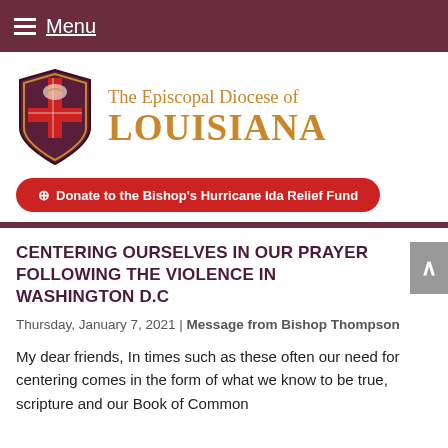Menu
[Figure (logo): The Episcopal Diocese of Louisiana logo with shield/cross emblem and gold text]
Donate to the Bishop's Hurricane Ida Relief Fund
CENTERING OURSELVES IN OUR PRAYER FOLLOWING THE VIOLENCE IN WASHINGTON D.C
Thursday, January 7, 2021 | Message from Bishop Thompson
My dear friends, In times such as these often our need for centering comes in the form of what we know to be true, scripture and our Book of Common